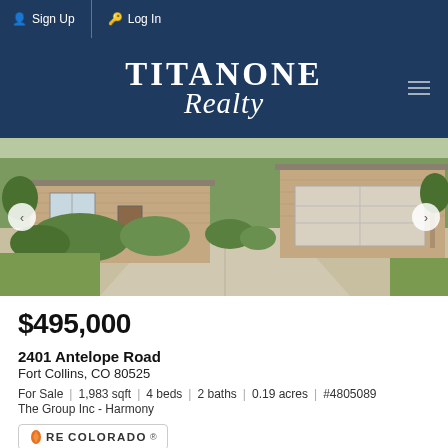Sign Up  Log In
[Figure (logo): TitanOne Realty logo in white text on dark navy background]
[Figure (photo): Exterior photo of a brick ranch-style house with large two-car garage, concrete driveway, and landscaped front yard with shrubs and trees]
$495,000
2401 Antelope Road
Fort Collins, CO 80525
For Sale  |  1,983 sqft  |  4 beds  |  2 baths  |  0.19 acres  |  #4805089
The Group Inc - Harmony
[Figure (logo): RE/Colorado logo badge]